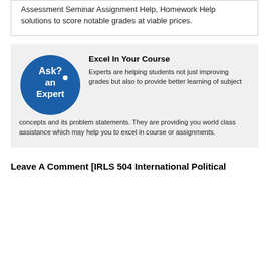Assessment Seminar Assignment Help, Homework Help solutions to score notable grades at viable prices.
[Figure (logo): Blue circular logo with white text reading 'Ask? an Expert']
Excel In Your Course
Experts are helping students not just improving grades but also to provide better learning of subject concepts and its problem statements. They are providing you world class assistance which may help you to excel in course or assignments.
Leave A Comment [IRLS 504 International Political